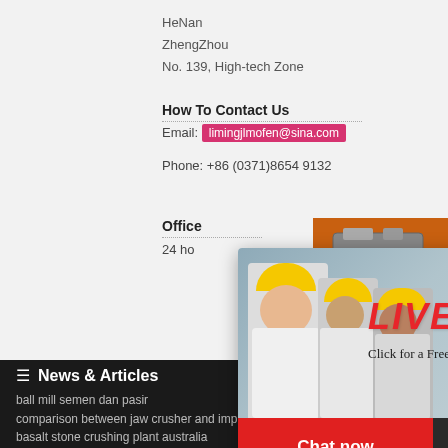HeNan
ZhengZhou
No. 139, High-tech Zone
How To Contact Us
Email: limingjlmofen@sina.com
Phone: +86 (0371)8654 9132
Office Hours
24 ho...
[Figure (screenshot): Live Chat popup with construction workers in hard hats, red LIVE CHAT text, 'Click for a Free Consultation' subtitle, Chat now (red) and Chat later (dark) buttons]
[Figure (infographic): Orange right sidebar with machinery images, Enjoy 3% discount, Click to Chat in yellow, Enquiry button, limingjlmofen@sina.com email]
News & Articles
ball mill semen dan pasir
cost for a car crusher
comparison between jaw crusher and impact
basalt stone crushing plant australia